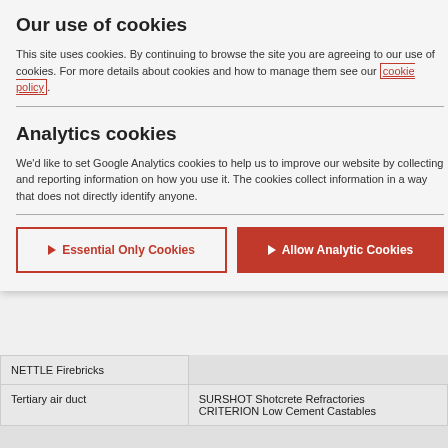Our use of cookies
This site uses cookies. By continuing to browse the site you are agreeing to our use of cookies. For more details about cookies and how to manage them see our cookie policy.
Analytics cookies
We'd like to set Google Analytics cookies to help us to improve our website by collecting and reporting information on how you use it. The cookies collect information in a way that does not directly identify anyone.
► Essential Only Cookies
► Allow Analytic Cookies
| Tertiary air duct | NETTLE Firebricks
SURSHOT Shotcrete Refractories
CRITERION Low Cement Castables |